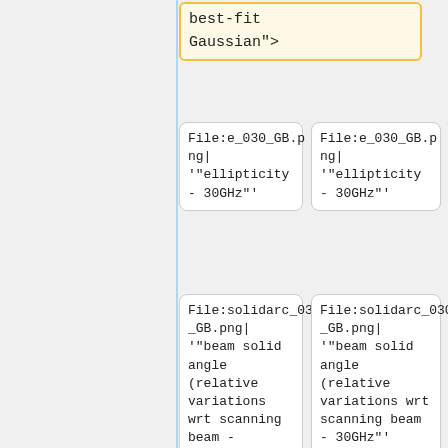best-fit Gaussian">
File:e_030_GB.png| '"ellipticity - 30GHz"'
File:e_030_GB.png| '"ellipticity - 30GHz"'
File:solidarc_030_GB.png| '"beam solid angle (relative variations wrt scanning beam - 30GHz"'
File:solidarc_030_GB.png| '"beam solid angle (relative variations wrt scanning beam - 30GHz"'
Line 95:
Line 105:
File:solidarc_100_BS_Mars12.png | '"beam solid angle (relative variations wrt scanning beam - 100GHz"'
File:solidarc_100_BS_Mars12.png | '"beam solid angle (relative variations wrt scanning beam - 100GHz"'